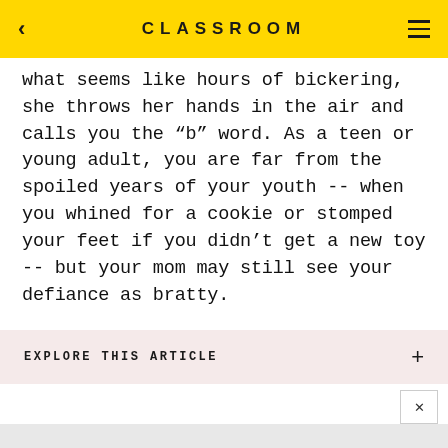CLASSROOM
what seems like hours of bickering, she throws her hands in the air and calls you the "b" word. As a teen or young adult, you are far from the spoiled years of your youth -- when you whined for a cookie or stomped your feet if you didn't get a new toy -- but your mom may still see your defiance as bratty.
EXPLORE THIS ARTICLE